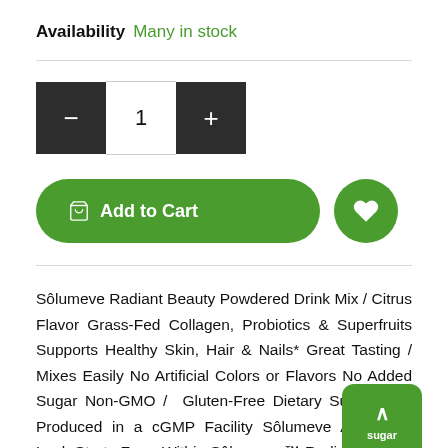Availability Many in stock
1
Add to Cart
Sôlumeve Radiant Beauty Powdered Drink Mix / Citrus Flavor Grass-Fed Collagen, Probiotics & Superfruits Supports Healthy Skin, Hair & Nails* Great Tasting / Mixes Easily No Artificial Colors or Flavors No Added Sugar Non-GMO /  Gluten-Free Dietary Supplement Produced in a cGMP Facility Sôlumeve A Healthy Look Starts From Within Sôlumeve ™ Radiant Beauty powdered drink mix is the perfect addition to your daily beauty routine. This